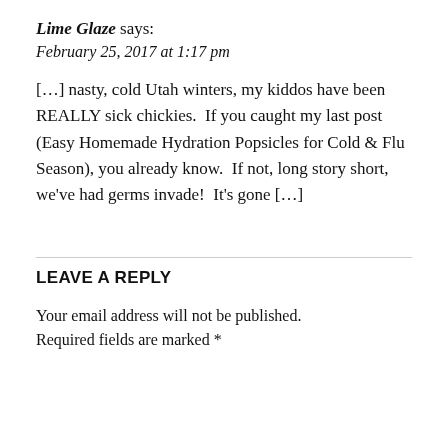Lime Glaze says:
February 25, 2017 at 1:17 pm
[…] nasty, cold Utah winters, my kiddos have been REALLY sick chickies.  If you caught my last post (Easy Homemade Hydration Popsicles for Cold & Flu Season), you already know.  If not, long story short, we've had germs invade!  It's gone […]
LEAVE A REPLY
Your email address will not be published. Required fields are marked *